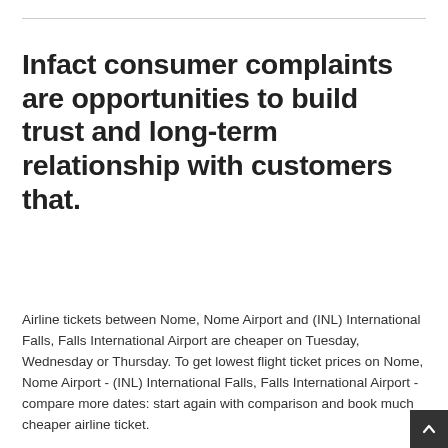Infact consumer complaints are opportunities to build trust and long-term relationship with customers that.
Airline tickets between Nome, Nome Airport and (INL) International Falls, Falls International Airport are cheaper on Tuesday, Wednesday or Thursday. To get lowest flight ticket prices on Nome, Nome Airport - (INL) International Falls, Falls International Airport - compare more dates: start again with comparison and book much cheaper airline ticket.